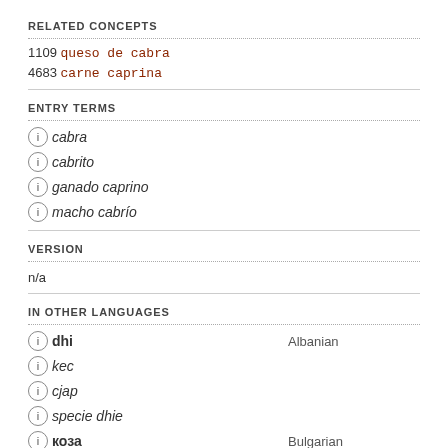RELATED CONCEPTS
1109 queso de cabra
4683 carne caprina
ENTRY TERMS
cabra
cabrito
ganado caprino
macho cabrío
VERSION
n/a
IN OTHER LANGUAGES
dhi — Albanian
kec
cjap
specie dhie
коза — Bulgarian
koza — Croatian
jarac
kozlić